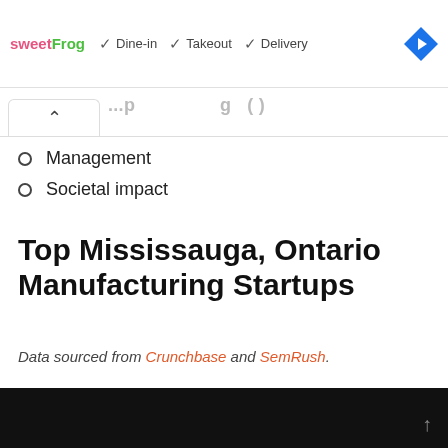[Figure (screenshot): Ad banner for sweetFrog with Dine-in, Takeout, Delivery checkmarks and a blue navigation arrow icon]
Management
Societal impact
Top Mississauga, Ontario Manufacturing Startups
Data sourced from Crunchbase and SemRush.
[Figure (photo): Black image area at the bottom of the page]